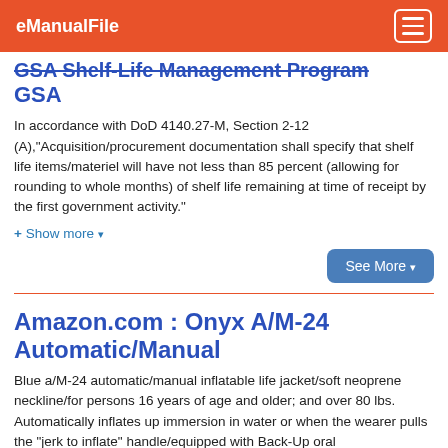eManualFile
GSA Shelf-Life Management Program GSA
In accordance with DoD 4140.27-M, Section 2-12 (A),"Acquisition/procurement documentation shall specify that shelf life items/materiel will have not less than 85 percent (allowing for rounding to whole months) of shelf life remaining at time of receipt by the first government activity."
+ Show more ▾
See More ▾
Amazon.com : Onyx A/M-24 Automatic/Manual
Blue a/M-24 automatic/manual inflatable life jacket/soft neoprene neckline/for persons 16 years of age and older; and over 80 lbs. Automatically inflates up immersion in water or when the wearer pulls the "jerk to inflate" handle/equipped with Back-Up oral